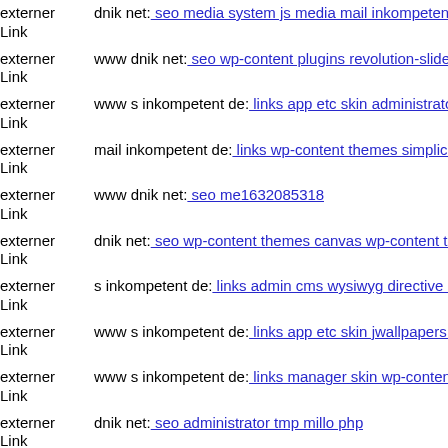externer Link  dnik net: seo media system js media mail inkompetent de
externer Link  www dnik net: seo wp-content plugins revolution-slider ten
externer Link  www s inkompetent de: links app etc skin administrator wp
externer Link  mail inkompetent de: links wp-content themes simplicity st
externer Link  www dnik net: seo me1632085318
externer Link  dnik net: seo wp-content themes canvas wp-content themes
externer Link  s inkompetent de: links admin cms wysiwyg directive skin
externer Link  www s inkompetent de: links app etc skin jwallpapers files
externer Link  www s inkompetent de: links manager skin wp-content plug
externer Link  dnik net: seo administrator tmp millo php
externer Link  www dnik net: seo wp-content themes flatshop dnik net
externer Link  dnik net: seo wp-content themes twentyfourteen magmi